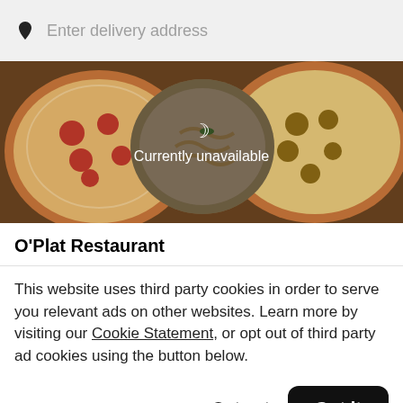Enter delivery address
[Figure (photo): Food photo showing pizzas and pasta dishes, with a 'Currently unavailable' overlay and moon icon in the center]
O'Plat Restaurant
This website uses third party cookies in order to serve you relevant ads on other websites. Learn more by visiting our Cookie Statement, or opt out of third party ad cookies using the button below.
Opt out | Got it